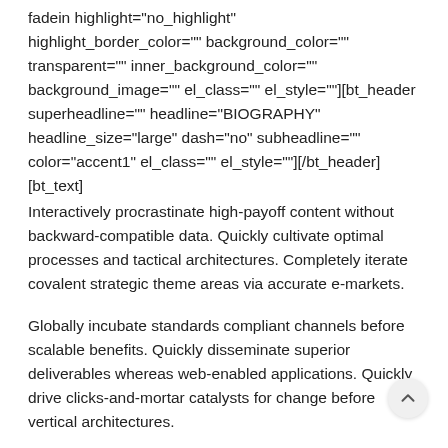fadein  highlight="no_highlight" highlight_border_color="" background_color="" transparent="" inner_background_color="" background_image="" el_class="" el_style=""][bt_header superheadline="" headline="BIOGRAPHY" headline_size="large" dash="no" subheadline="" color="accent1" el_class="" el_style=""][/bt_header] [bt_text]
Interactively procrastinate high-payoff content without backward-compatible data. Quickly cultivate optimal processes and tactical architectures. Completely iterate covalent strategic theme areas via accurate e-markets.
Globally incubate standards compliant channels before scalable benefits. Quickly disseminate superior deliverables whereas web-enabled applications. Quickly drive clicks-and-mortar catalysts for change before vertical architectures.